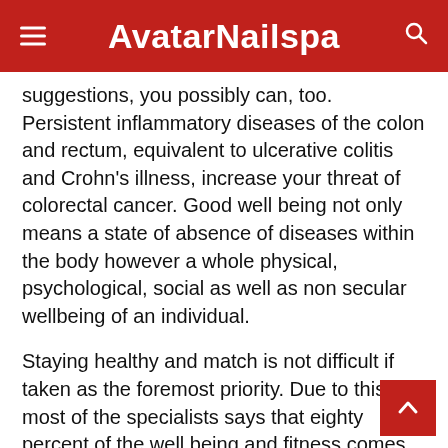AvatarNailspa
suggestions, you possibly can, too. Persistent inflammatory diseases of the colon and rectum, equivalent to ulcerative colitis and Crohn's illness, increase your threat of colorectal cancer. Good well being not only means a state of absence of diseases within the body however a whole physical, psychological, social as well as non secular wellbeing of an individual.
Staying healthy and match is not difficult if taken as the foremost priority. Due to this fact most of the specialists says that eighty percent of the well being and fitness comes from the food what we eat. Other than weight loss, fitness helps in enhancing in cardiovascular health It additionally helps in fighting with anxiousness, despair and insomnia